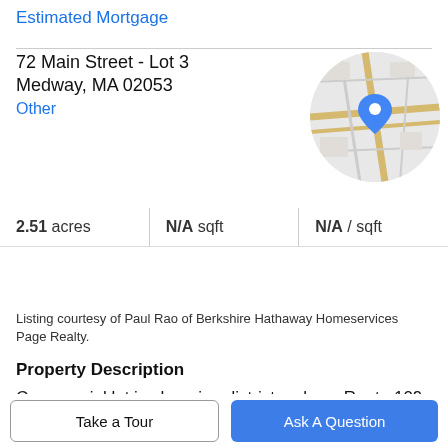Estimated Mortgage
72 Main Street - Lot 3
Medway, MA 02053
Other
[Figure (map): Circular map thumbnail showing the property location with a blue pin marker on a street map.]
|  |  |  |
| --- | --- | --- |
| N/A beds | N/A baths | N/A ½ baths |
| 2.51 acres | N/A sqft | N/A / sqft |
Listing courtesy of Paul Rao of Berkshire Hathaway Homeservices Page Realty.
Property Description
Commercial lot in shopping district on busy Route 109 in Medway! Great location to construct new retail, services, and/or residential apartments. This property has access
Take a Tour
Ask A Question